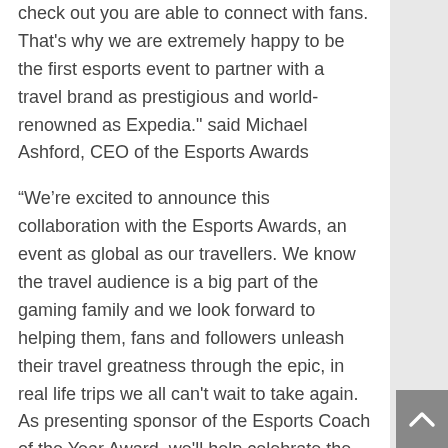check out you are able to connect with fans. That's why we are extremely happy to be the first esports event to partner with a travel brand as prestigious and world-renowned as Expedia." said Michael Ashford, CEO of the Esports Awards
“We’re excited to announce this collaboration with the Esports Awards, an event as global as our travellers. We know the travel audience is a big part of the gaming family and we look forward to helping them, fans and followers unleash their travel greatness through the epic, in real life trips we all can't wait to take again. As presenting sponsor of the Esports Coach of the Year Award, we'll help celebrate the role a coach plays as their team’s ultimate companion and our partnership will feature one of the most